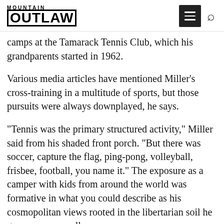MOUNTAIN OUTLAW
camps at the Tamarack Tennis Club, which his grandparents started in 1962.
Various media articles have mentioned Miller's cross-training in a multitude of sports, but those pursuits were always downplayed, he says.
“Tennis was the primary structured activity,” Miller said from his shaded front porch. “But there was soccer, capture the flag, ping-pong, volleyball, frisbee, football, you name it.” The exposure as a camper with kids from around the world was formative in what you could describe as his cosmopolitan views rooted in the libertarian soil he grew up on, usually